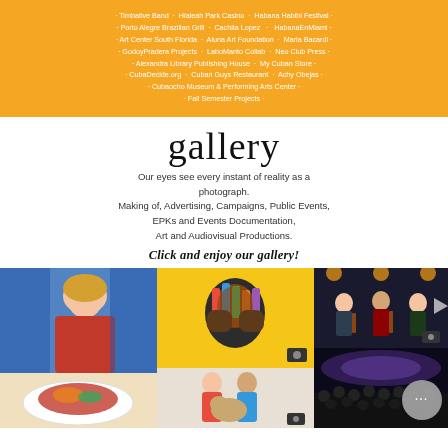· Timbative Band · Hialeah Park Casino · Habana Habibi Festival · Porto Alegre Brazilian Grill · Cachita Lopez · HabanaEnMiami · Art Center South Florida · Aluna Art Foundation · Maria Bacardi · GodoyPradera Projects · LaboManto Collab · Neo Club Press · Alexandra Library Publishing House · My Cuban Store · CubaDecide.org · Cuban Guys Restaurant · Achy Obejas · Cubaocho Museum & Performing Arts Center · Fall Semester Projects ·
gallery
Our eyes see every instant of reality as a photograph. Making of, Advertising, Campaigns, Public Events, EPKs and Events Documentation, Art and Audiovisual Productions.
Click and enjoy our gallery!
[Figure (photo): Gallery photo collage showing various event photography, portraits, concerts, and advertising images]